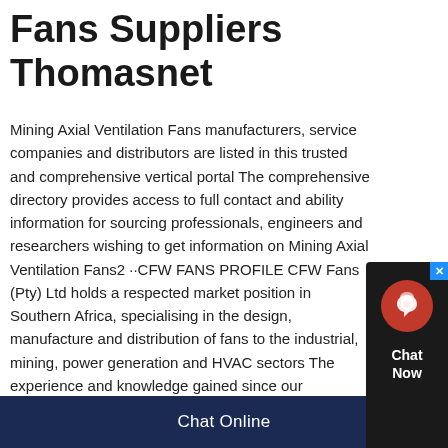Fans Suppliers Thomasnet
Mining Axial Ventilation Fans manufacturers, service companies and distributors are listed in this trusted and comprehensive vertical portal The comprehensive directory provides access to full contact and ability information for sourcing professionals, engineers and researchers wishing to get information on Mining Axial Ventilation Fans2 ··CFW FANS PROFILE CFW Fans (Pty) Ltd holds a respected market position in Southern Africa, specialising in the design, manufacture and distribution of fans to the industrial, mining, power generation and HVAC sectors The experience and knowledge gained since our establishment as Continental Fan Works in 1966 has positioned
[Figure (other): Chat Now widget with red circular icon and dark background, with a blue X close button]
Chat Online